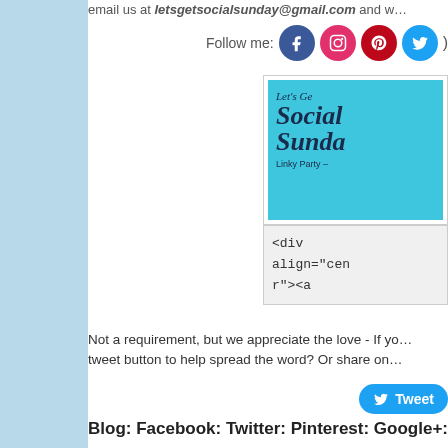email us at letsgetsocialsunday@gmail.com and w...
Follow me:
[Figure (other): Let's Get Social Sunday Linky Party logo in teal/cyan background]
<div align="center"><a
Not a requirement, but we appreciate the love - If yo... tweet button to help spread the word? Or share on...
Blog: Facebook: Twitter: Pinterest: Google+: Bl...
Subscribe to our mailing list
email address